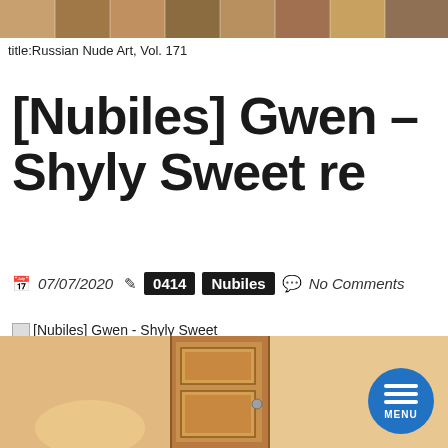[Figure (photo): Banner strip of thumbnail images at the top of the page]
title:Russian Nude Art, Vol. 171
[Nubiles] Gwen - Shyly Sweet re
07/07/2020  0414  Nubiles  No Comments
[Nubiles] Gwen - Shyly Sweet
Nubiles | Mar 7, 2020 | Hi-Res Photoset + HD Video 1080p | 189 Mb / 000 Gb
[Figure (photo): Partial photo at the bottom of the page showing a door]